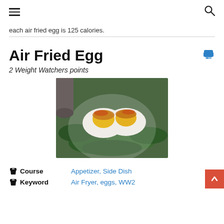≡  🔍
each air fried egg is 125 calories.
Air Fried Egg
2 Weight Watchers points
[Figure (photo): Air fried egg cut in half showing runny yolk, served on a white plate with fresh green spinach leaves]
Course   Appetizer, Side Dish
Keyword   Air Fryer, eggs, WW2